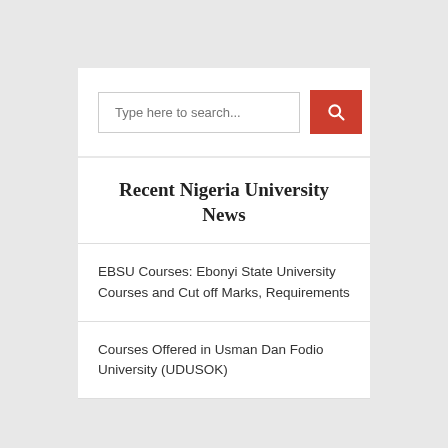[Figure (screenshot): Search input box with placeholder text 'Type here to search...' and a red search button with magnifying glass icon]
Recent Nigeria University News
EBSU Courses: Ebonyi State University Courses and Cut off Marks, Requirements
Courses Offered in Usman Dan Fodio University (UDUSOK)